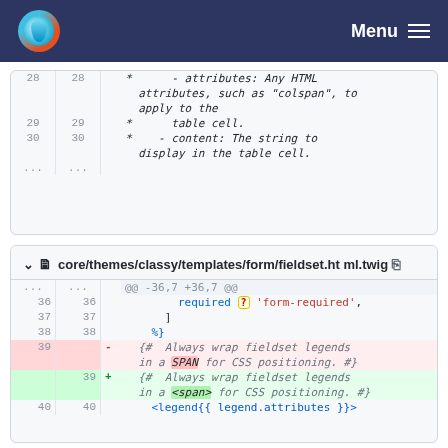Menu
[Figure (screenshot): Code diff block showing lines 28-30 with comments about attributes (any HTML attributes such as colspan) and content (the string to display in the table cell)]
[Figure (screenshot): Code diff block for core/themes/classy/templates/form/fieldset.html.twig showing lines 36-40 with a diff replacing SPAN with <span> in a Twig comment about wrapping fieldset legends]
core/themes/classy/templates/form/fieldset.html.twig